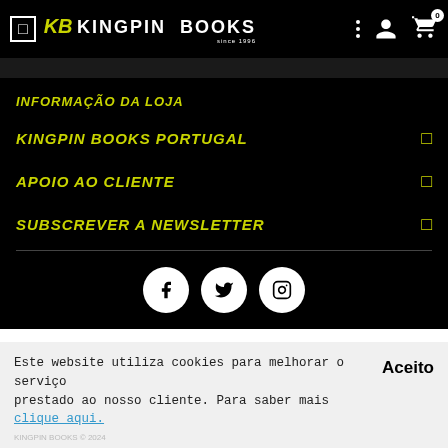KB KINGPIN BOOKS
INFORMAÇÃO DA LOJA
KINGPIN BOOKS PORTUGAL
APOIO AO CLIENTE
SUBSCREVER A NEWSLETTER
[Figure (other): Social media icons: Facebook, Twitter, Instagram]
Este website utiliza cookies para melhorar o serviço prestado ao nosso cliente. Para saber mais clique aqui.
Aceito